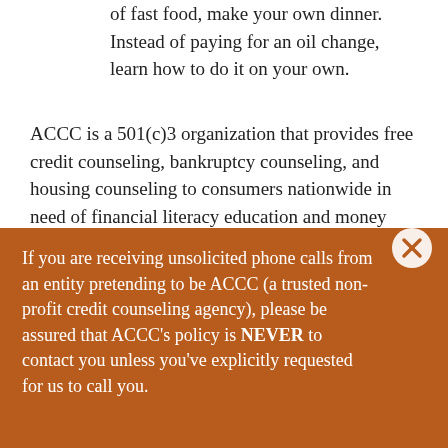of fast food, make your own dinner.  Instead of paying for an oil change, learn how to do it on your own.
ACCC is a 501(c)3 organization that provides free credit counseling, bankruptcy counseling, and housing counseling to consumers nationwide in need of financial literacy education and money management. For more information, contact ACCC:
For credit counseling, call 800-769-3571
For bankruptcy counseling, call 866-826-6924
If you are receiving unsolicited phone calls from an entity pretending to be ACCC (a trusted non-profit credit counseling agency), please be assured that ACCC’s policy is NEVER to contact you unless you’ve explicitly requested for us to call you.